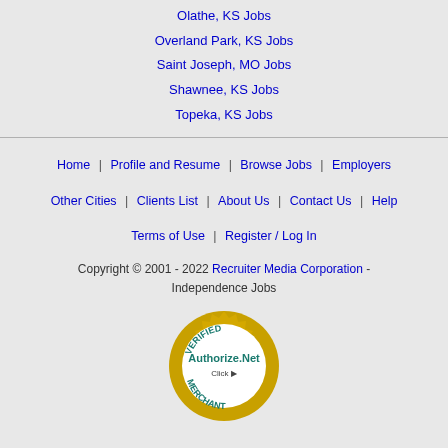Olathe, KS Jobs
Overland Park, KS Jobs
Saint Joseph, MO Jobs
Shawnee, KS Jobs
Topeka, KS Jobs
Home | Profile and Resume | Browse Jobs | Employers | Other Cities | Clients List | About Us | Contact Us | Help | Terms of Use | Register / Log In
Copyright © 2001 - 2022 Recruiter Media Corporation - Independence Jobs
[Figure (logo): Authorize.Net Verified Merchant seal/badge]